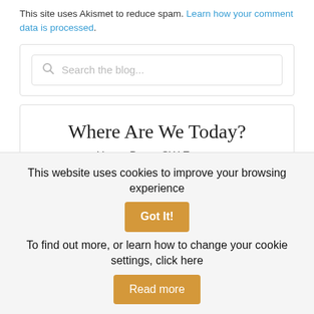This site uses Akismet to reduce spam. Learn how your comment data is processed.
[Figure (screenshot): Search bar with placeholder text 'Search the blog...' and search icon]
Where Are We Today?
Home Base, SW France
This website uses cookies to improve your browsing experience
Got It!
To find out more, or learn how to change your cookie settings, click here
Read more